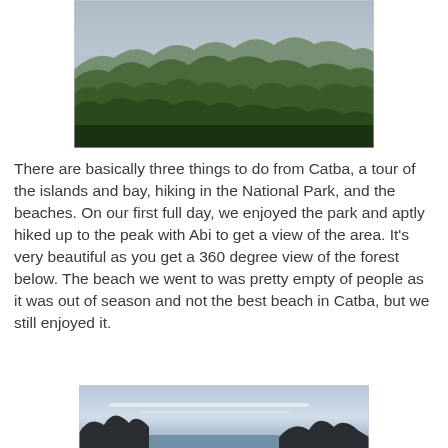[Figure (photo): Aerial/elevated view of a dense forested mountain range with karst peaks under a hazy sky, likely Cat Ba National Park, Vietnam.]
There are basically three things to do from Catba, a tour of the islands and bay, hiking in the National Park, and the beaches. On our first full day, we enjoyed the park and aptly hiked up to the peak with Abi to get a view of the area. It's very beautiful as you get a 360 degree view of the forest below. The beach we went to was pretty empty of people as it was out of season and not the best beach in Catba, but we still enjoyed it.
[Figure (photo): Silhouette of rocky karst mountains against a pale blue and grey sky with wispy clouds, likely Cat Ba island area at dusk or dawn.]